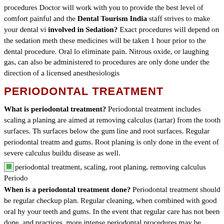procedures Doctor will work with you to provide the best level of comfort painful and the Dental Tourism India staff strives to make your dental vi involved in Sedation? Exact procedures will depend on the sedation meth these medicines will be taken 1 hour prior to the dental procedure. Oral lo eliminate pain. Nitrous oxide, or laughing gas, can also be administered to procedures are only done under the direction of a licensed anesthesiologis
PERIODONTAL TREATMENT
What is periodontal treatment? Periodontal treatment includes scaling a planing are aimed at removing calculus (tartar) from the tooth surfaces. Th surfaces below the gum line and root surfaces. Regular periodontal treatm and gums. Root planing is only done in the event of severe calculus buildu disease as well.
[Figure (photo): Small image placeholder for periodontal treatment illustration (scaling, root planing, removing calculus)]
When is a periodontal treatment done? Periodontal treatment should be regular checkup plan. Regular cleaning, when combined with good oral hy your teeth and gums. In the event that regular care has not been done, and practices, more intense periodontal procedures may be required to return t periodontal disease will result in the loss of bone and eventually your natu treatment? Periodontal treatment involves the use of ultrasonic cleaners